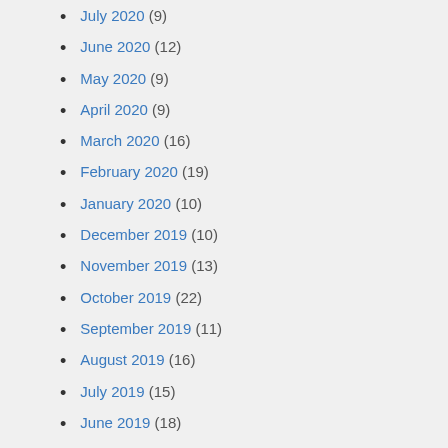July 2020 (9)
June 2020 (12)
May 2020 (9)
April 2020 (9)
March 2020 (16)
February 2020 (19)
January 2020 (10)
December 2019 (10)
November 2019 (13)
October 2019 (22)
September 2019 (11)
August 2019 (16)
July 2019 (15)
June 2019 (18)
May 2019 (9)
April 2019 (31)
March 2019 (21)
February 2019 (20)